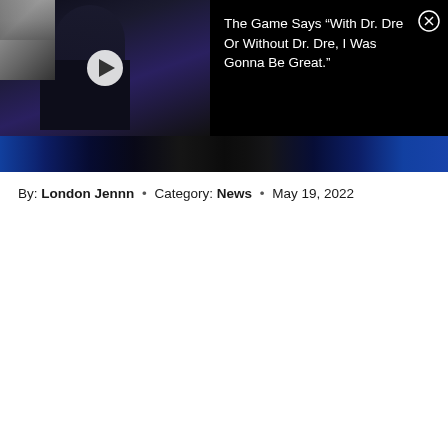[Figure (screenshot): Video player thumbnail showing a person in dark clothing with a play button overlay, with a black overlay panel on the right displaying a quote title about The Game and Dr. Dre, and a close (X) button.]
By: London Jennn • Category: News • May 19, 2022